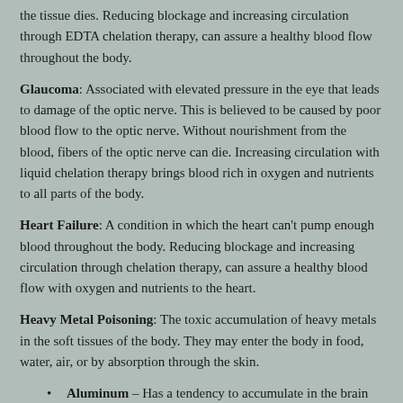the tissue dies. Reducing blockage and increasing circulation through EDTA chelation therapy, can assure a healthy blood flow throughout the body.
Glaucoma: Associated with elevated pressure in the eye that leads to damage of the optic nerve. This is believed to be caused by poor blood flow to the optic nerve. Without nourishment from the blood, fibers of the optic nerve can die. Increasing circulation with liquid chelation therapy brings blood rich in oxygen and nutrients to all parts of the body.
Heart Failure: A condition in which the heart can't pump enough blood throughout the body. Reducing blockage and increasing circulation through chelation therapy, can assure a healthy blood flow with oxygen and nutrients to the heart.
Heavy Metal Poisoning: The toxic accumulation of heavy metals in the soft tissues of the body. They may enter the body in food, water, air, or by absorption through the skin.
Aluminum – Has a tendency to accumulate in the brain and bones. It comes from everyday products: nasal spray, cooking utensils, food additives, antacids,